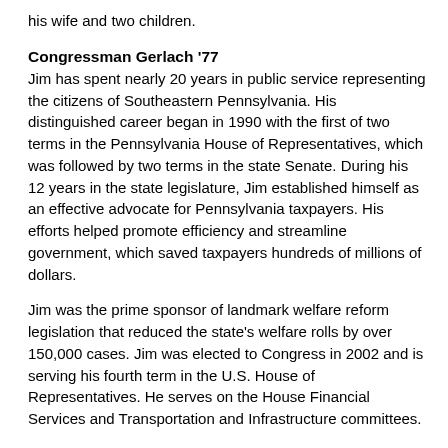his wife and two children.
Congressman Gerlach '77
Jim has spent nearly 20 years in public service representing the citizens of Southeastern Pennsylvania. His distinguished career began in 1990 with the first of two terms in the Pennsylvania House of Representatives, which was followed by two terms in the state Senate. During his 12 years in the state legislature, Jim established himself as an effective advocate for Pennsylvania taxpayers. His efforts helped promote efficiency and streamline government, which saved taxpayers hundreds of millions of dollars.
Jim was the prime sponsor of landmark welfare reform legislation that reduced the state's welfare rolls by over 150,000 cases. Jim was elected to Congress in 2002 and is serving his fourth term in the U.S. House of Representatives. He serves on the House Financial Services and Transportation and Infrastructure committees.
One of his biggest legislative accomplishments was creating a much-needed veterans cemetery here in Southeastern Pennsylvania. The bill Jim authored was signed into law by the